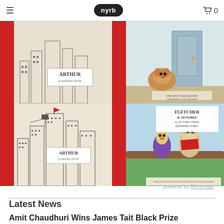≡  nyrb  🛒 0
[Figure (illustration): Book cover for Arthur (top-left, partially visible), black and white illustration of city buildings]
[Figure (illustration): Book cover with red spine showing a mouse/hamster near a door]
[Figure (illustration): Book cover for Arthur, full view, black and white city illustration with red flag]
[Figure (illustration): Book cover for Fletcher and Zenobia by Victoria Chess and Edward Gorey, colorful illustration of two animal characters on a tree branch]
powered by Recomatic
Latest News
Amit Chaudhuri Wins James Tait Black Prize